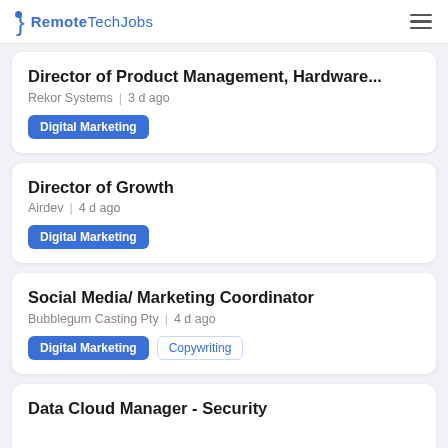RemoteTechJobs
Director of Product Management, Hardware...
Rekor Systems | 3 d ago
Digital Marketing
Director of Growth
Airdev | 4 d ago
Digital Marketing
Social Media/ Marketing Coordinator
Bubblegum Casting Pty | 4 d ago
Digital Marketing  Copywriting
Data Cloud Manager - Security